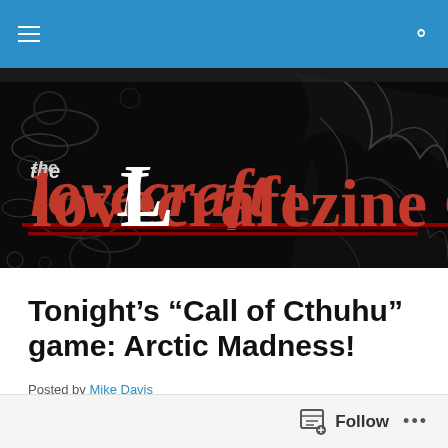Navigation bar with hamburger menu and search icon
[Figure (illustration): The Lovecraft Ezine banner logo on black background with decorative tentacle/swirl patterns. Red and white stylized text reads 'the Lovecraft ezine'.]
Tonight’s “Call of Cthuhu” game: Arctic Madness!
Posted by Mike Davis
[Figure (illustration): A blue-toned fantasy/horror image showing icy spires and towers rising from an arctic landscape with ethereal blue light and mist.]
Follow  ...